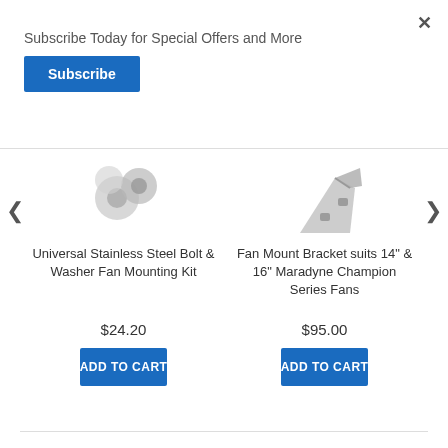Subscribe Today for Special Offers and More
Subscribe
[Figure (screenshot): Product image: Universal Stainless Steel Bolt & Washer Fan Mounting Kit (partial, showing bolts/washers from top)]
[Figure (screenshot): Product image: Fan Mount Bracket suits 14" & 16" Maradyne Champion Series Fans (partial, showing metal bracket)]
Universal Stainless Steel Bolt & Washer Fan Mounting Kit
Fan Mount Bracket suits 14" & 16" Maradyne Champion Series Fans
$24.20
$95.00
ADD TO CART
ADD TO CART